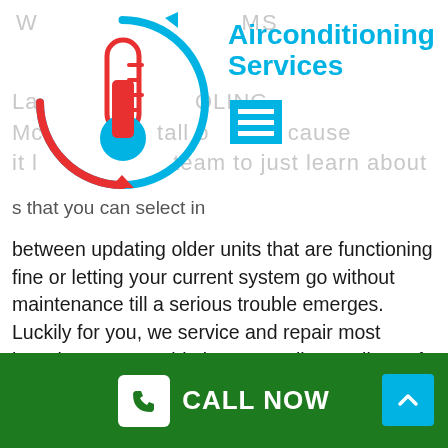[Figure (logo): Air conditioning service logo: thermometer with red and blue circular arrows]
Airconditioning Services
s that you can select in between updating older units that are functioning fine or letting your current system go without maintenance till a serious trouble emerges. Luckily for you, we service and repair most brands so you could give us a call regardless of what your problem is.
FAST AND TRUSTED SOLUTION
Our quick solution is what we are known for, and our professional, lasting results are what keep our clients
CALL NOW